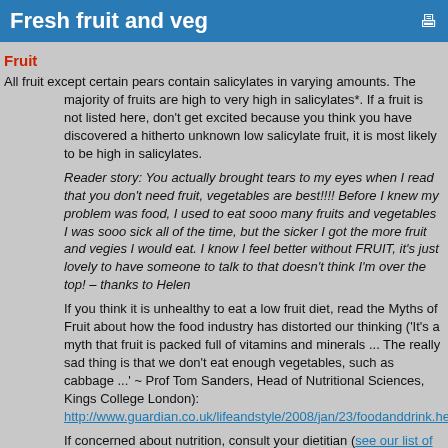Fresh fruit and veg
Fruit
All fruit except certain pears contain salicylates in varying amounts. The majority of fruits are high to very high in salicylates*. If a fruit is not listed here, don't get excited because you think you have discovered a hitherto unknown low salicylate fruit, it is most likely to be high in salicylates.
Reader story: You actually brought tears to my eyes when I read that you don't need fruit, vegetables are best!!!! Before I knew my problem was food, I used to eat sooo many fruits and vegetables I was sooo sick all of the time, but the sicker I got the more fruit and vegies I would eat. I know I feel better without FRUIT, it's just lovely to have someone to talk to that doesn't think I'm over the top! – thanks to Helen
If you think it is unhealthy to eat a low fruit diet, read the Myths of Fruit about how the food industry has distorted our thinking ('It's a myth that fruit is packed full of vitamins and minerals ... The really sad thing is that we don't eat enough vegetables, such as cabbage ...' ~ Prof Tom Sanders, Head of Nutritional Sciences, Kings College London): http://www.guardian.co.uk/lifeandstyle/2008/jan/23/foodanddrink.hea
If concerned about nutrition, consult your dietitian (see our list of